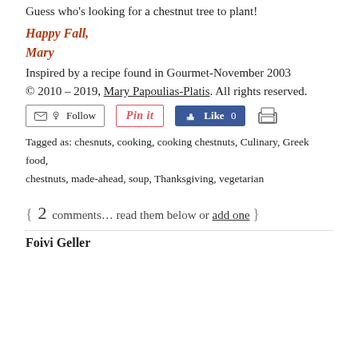Guess who's looking for a chestnut tree to plant!
Happy Fall,
Mary
Inspired by a recipe found in Gourmet-November 2003
© 2010 – 2019, Mary Papoulias-Platis. All rights reserved.
[Figure (other): Social buttons row: Follow, Pin it, Like 0, Print]
Tagged as: chesnuts, cooking, cooking chestnuts, Culinary, Greek food, chestnuts, made-ahead, soup, Thanksgiving, vegetarian
{ 2 comments… read them below or add one }
Foivi Geller